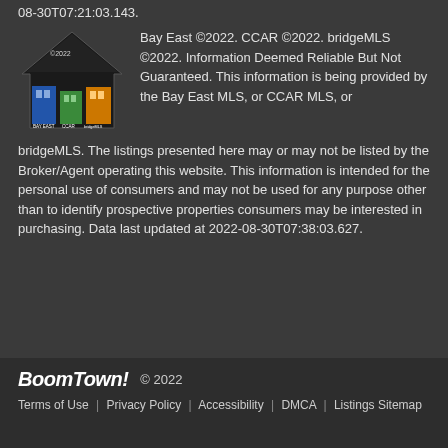08-30T07:21:03.143.
[Figure (logo): Bay East / CCAR / bridgeMLS combined logo showing a house outline with ©2022 and three colored buildings below]
Bay East ©2022. CCAR ©2022. bridgeMLS ©2022. Information Deemed Reliable But Not Guaranteed. This information is being provided by the Bay East MLS, or CCAR MLS, or bridgeMLS. The listings presented here may or may not be listed by the Broker/Agent operating this website. This information is intended for the personal use of consumers and may not be used for any purpose other than to identify prospective properties consumers may be interested in purchasing. Data last updated at 2022-08-30T07:38:03.627.
BoomTown! © 2022
Terms of Use | Privacy Policy | Accessibility | DMCA | Listings Sitemap
Take a Tour
Ask A Question